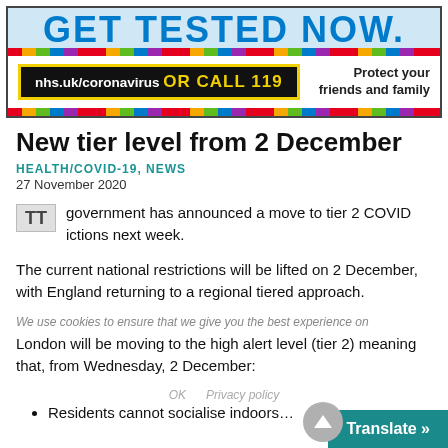[Figure (infographic): NHS Get Tested Now banner with blue dashed border, black box with yellow border showing 'nhs.uk/coronavirus OR CALL 119', and text 'Protect your friends and family'. Colorful dashed strip at bottom.]
New tier level from 2 December
HEALTH/COVID-19, NEWS
27 November 2020
government has announced a move to tier 2 COVID restrictions next week.
The current national restrictions will be lifted on 2 December, with England returning to a regional tiered approach.
We use cookies to ensure that we give you the best experience on
London will be moving to the high alert level (tier 2) meaning that, from Wednesday, 2 December:
OK  Privacy policy
Residents cannot socialise indoors